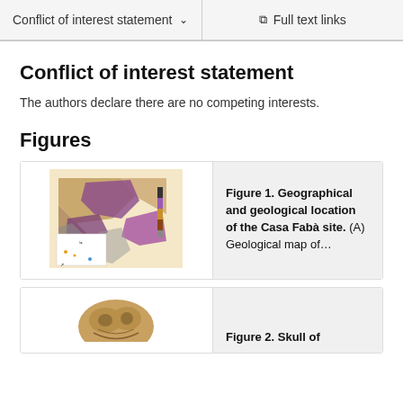Conflict of interest statement   Full text links
Conflict of interest statement
The authors declare there are no competing interests.
Figures
[Figure (map): Geological map thumbnail showing the Casa Fabà site geographical and geological location]
Figure 1. Geographical and geological location of the Casa Fabà site. (A) Geological map of…
[Figure (photo): Partial skull photograph — Figure 2. Skull of…]